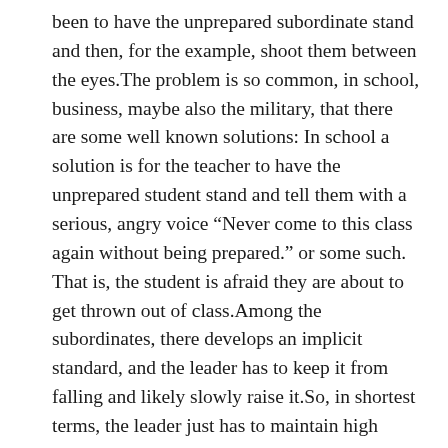been to have the unprepared subordinate stand and then, for the example, shoot them between the eyes.The problem is so common, in school, business, maybe also the military, that there are some well known solutions: In school a solution is for the teacher to have the unprepared student stand and tell them with a serious, angry voice “Never come to this class again without being prepared.” or some such. That is, the student is afraid they are about to get thrown out of class.Among the subordinates, there develops an implicit standard, and the leader has to keep it from falling and likely slowly raise it.So, in shortest terms, the leader just has to maintain high standards. Then the why, what, where, how much, etc, hopefully take care of themselves.